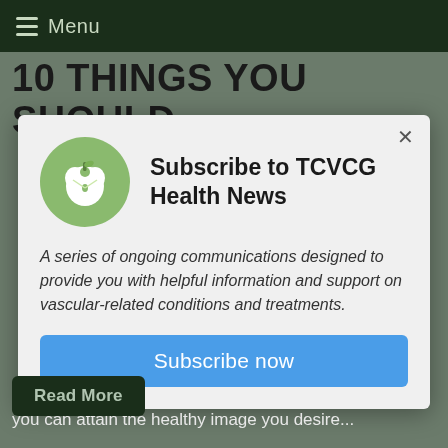Menu
10 THINGS YOU SHOULD
[Figure (screenshot): Subscription modal popup for TCVCG Health News featuring a green apple icon, title 'Subscribe to TCVCG Health News', description text, and a blue Subscribe now button]
you can attain the healthy image you desire...
Read More